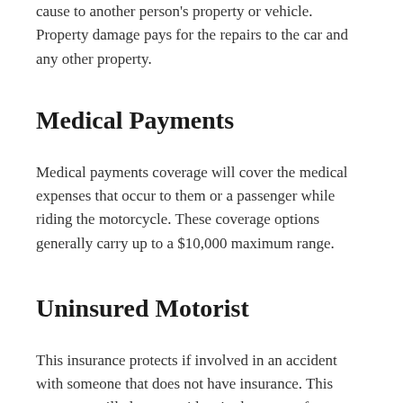cause to another person's property or vehicle. Property damage pays for the repairs to the car and any other property.
Medical Payments
Medical payments coverage will cover the medical expenses that occur to them or a passenger while riding the motorcycle. These coverage options generally carry up to a $10,000 maximum range.
Uninsured Motorist
This insurance protects if involved in an accident with someone that does not have insurance. This coverage will also save riders in the event of